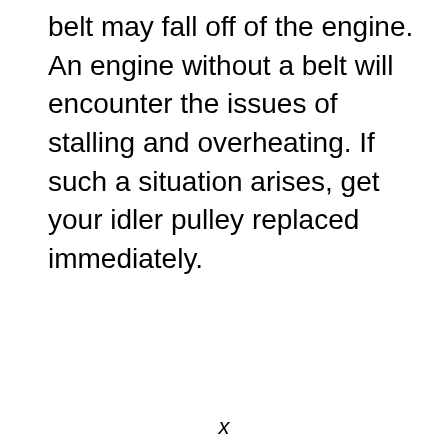belt may fall off of the engine. An engine without a belt will encounter the issues of stalling and overheating. If such a situation arises, get your idler pulley replaced immediately.
x